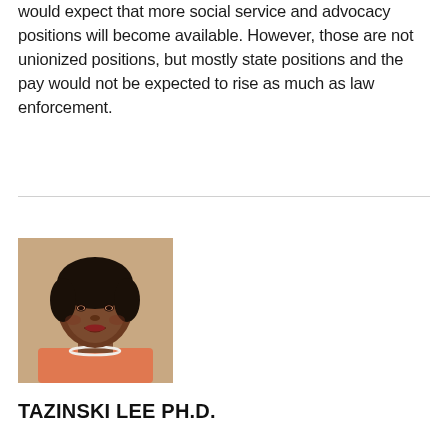would expect that more social service and advocacy positions will become available. However, those are not unionized positions, but mostly state positions and the pay would not be expected to rise as much as law enforcement.
[Figure (photo): Portrait photo of Tazinski Lee Ph.D., a woman with short dark hair, wearing a colorful top and pearl necklace, smiling, against a warm beige background.]
TAZINSKI LEE PH.D.